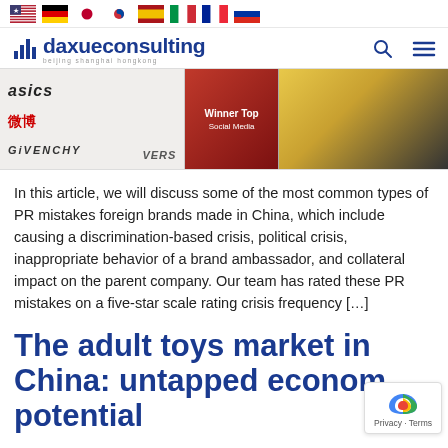Flag icons: US, Germany, Japan, South Korea, Spain, Italy, France, Russia
[Figure (logo): Daxue Consulting logo with bar chart icon and tagline 'beijing shanghai hongkong', plus search and menu icons]
[Figure (photo): Banner image showing three sections: brand logos (Asics, Weibo, Givenchy, Versace), a red promotional section, and a fashion/luxury goods section]
In this article, we will discuss some of the most common types of PR mistakes foreign brands made in China, which include causing a discrimination-based crisis, political crisis, inappropriate behavior of a brand ambassador, and collateral impact on the parent company. Our team has rated these PR mistakes on a five-star scale rating crisis frequency […]
The adult toys market in China: untapped economic potential